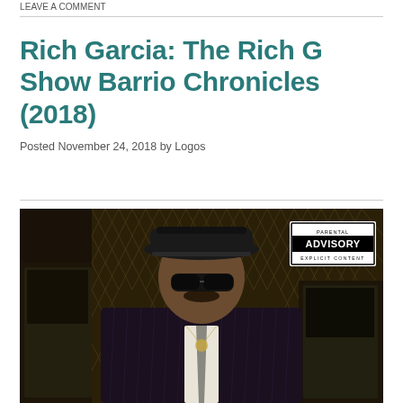LEAVE A COMMENT
Rich Garcia: The Rich G Show Barrio Chronicles (2018)
Posted November 24, 2018 by Logos
[Figure (photo): Man in a black pinstripe suit and black fedora hat with sunglasses, standing next to a car with chain-link fence background. Parental Advisory Explicit Content label visible in top right corner.]